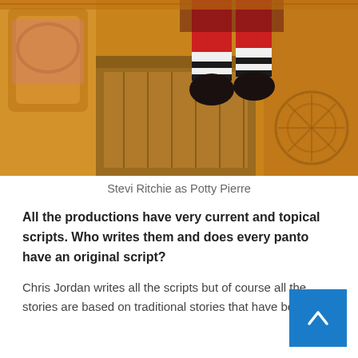[Figure (photo): A person (Stevi Ritchie as Potty Pierre) photographed upside-down against a colorful pantomime stage set background with warm orange/yellow tones, red costume, and striped socks visible.]
Stevi Ritchie as Potty Pierre
All the productions have very current and topical scripts. Who writes them and does every panto have an original script?
Chris Jordan writes all the scripts but of course all the stories are based on traditional stories that have been